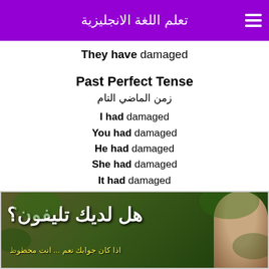تعلم اللغة الانجليزية
They have damaged
Past Perfect Tense
زمن الماضي التام
I had damaged
You had damaged
He had damaged
She had damaged
It had damaged
We had damaged
You had damaged
They had damaged
[Figure (illustration): Advertisement image with Arabic text 'هل لديك تليفون؟' and a woman's photo with green plant background]